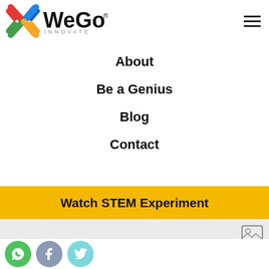[Figure (logo): WeGo Innovate logo with colorful X-shaped icon and WeGo INNOVATE wordmark]
About
Be a Genius
Blog
Contact
Watch STEM Experiment
[Figure (screenshot): Gray background section with a small image/photo placeholder icon in top right]
[Figure (infographic): Social media icons row: WhatsApp (green), Facebook (blue-gray), Twitter (light blue)]